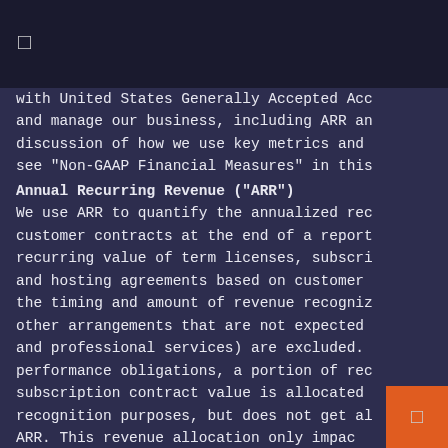□
with United States Generally Accepted Acc and manage our business, including ARR an discussion of how we use key metrics and see "Non-GAAP Financial Measures" in this
Annual Recurring Revenue ("ARR")
We use ARR to quantify the annualized rec customer contracts at the end of a report recurring value of term licenses, subscri and hosting agreements based on customer the timing and amount of revenue recogniz other arrangements that are not expected and professional services) are excluded. performance obligations, a portion of rec subscription contract value is allocated recognition purposes, but does not get al ARR. This revenue allocation only impac means that as we increase arrangements wi